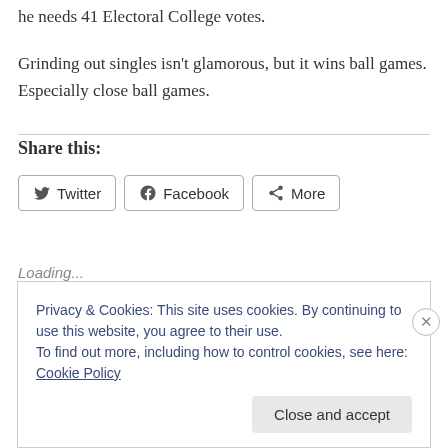he needs 41 Electoral College votes.
Grinding out singles isn't glamorous, but it wins ball games. Especially close ball games.
Share this:
Loading...
Privacy & Cookies: This site uses cookies. By continuing to use this website, you agree to their use.
To find out more, including how to control cookies, see here: Cookie Policy